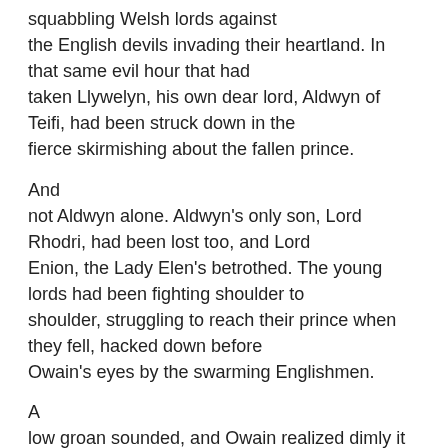squabbling Welsh lords against the English devils invading their heartland. In that same evil hour that had taken Llywelyn, his own dear lord, Aldwyn of Teifi, had been struck down in the fierce skirmishing about the fallen prince.

And not Aldwyn alone. Aldwyn's only son, Lord Rhodri, had been lost too, and Lord Enion, the Lady Elen's betrothed. The young lords had been fighting shoulder to shoulder, struggling to reach their prince when they fell, hacked down before Owain's eyes by the swarming Englishmen.

A low groan sounded, and Owain realized dimly it had come from his own throat. The memory of that nightmare hour was a crushing burden his warrior's heart.